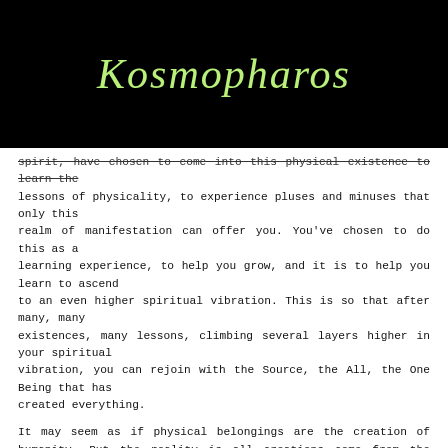Kosmopharos
spirit, have chosen to come into this physical existence to learn the lessons of physicality, to experience pluses and minuses that only this realm of manifestation can offer you. You've chosen to do this as a learning experience, to help you grow, and it is to help you learn to ascend to an even higher spiritual vibration. This is so that after many, many existences, many lessons, climbing several layers higher in your spiritual vibration, you can rejoin with the Source, the All, the One Being that has created everything.
It may seem as if physical belongings are the creation of humanity. But the reality is all creations come from the Source. It may be through one of the Source's individual expressions, what you would call a person, but all inspiration of each individual person comes from the Source and all physical matter, no matter how you change it, originated with the Source. Nothing can come into existence that did not already exist in some other form from the Source. You each are always connected via a thought or a spirit link to that from which you originated. And it is the love that you feel from it [the Source] in your subtle spiritual mind that draws you back towards it. It has set you out separately to collect experience — this is for